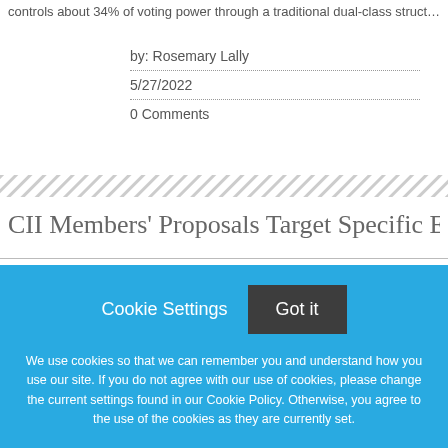controls about 34% of voting power through a traditional dual-class struct…
by: Rosemary Lally
5/27/2022
0 Comments
CII Members' Proposals Target Specific Exec…
Cookie Settings   Got it

We use cookies so that we can remember you and understand how you use our site. If you do not agree with our use of cookies, please change the current settings found in our Cookie Policy. Otherwise, you agree to the use of the cookies as they are currently set.